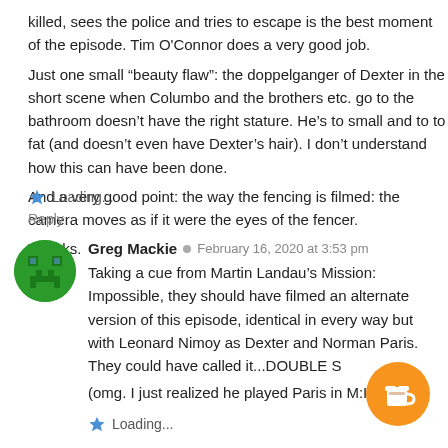killed, sees the police and tries to escape is the best moment of the episode. Tim O'Connor does a very good job.
Just one small "beauty flaw": the doppelganger of Dexter in the short scene when Columbo and the brothers etc. go to the bathroom doesn't have the right stature. He's to small and to to fat (and doesn't even have Dexter's hair). I don't understand how this can have been done.
And a very good point: the way the fencing is filmed: the camera moves as if it were the eyes of the fencer.
Thanks.
Loading...
Reply
Greg Mackie · February 16, 2020 at 3:53 pm
Taking a cue from Martin Landau's Mission: Impossible, they should have filmed an alternate version of this episode, identical in every way but with Leonard Nimoy as Dexter and Norman Paris. They could have called it...DOUBLE S (omg. I just realized he played Paris in M:I)
Loading...